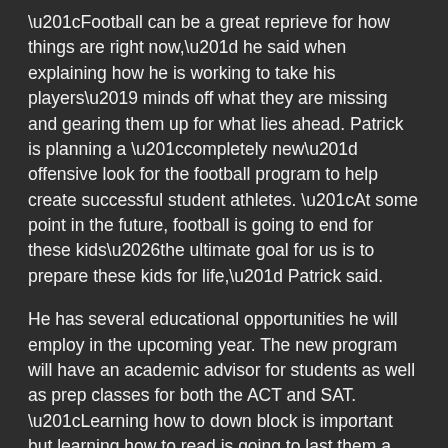“Football can be a great reprieve for how things are right now,” he said when explaining how he is working to take his players’ minds off what they are missing and gearing them up for what lies ahead. Patrick is planning a “completely new” offensive look for the football program to help create successful student athletes. “At some point in the future, football is going to end for these kids…the ultimate goal for us is to prepare these kids for life,” Patrick said.
He has several educational opportunities he will employ in the upcoming year. The new program will have an academic advisor for students as well as prep classes for both the ACT and SAT. “Learning how to down block is important but learning how to read is going to last them a lifetime,” he said. His plans also include a reading program for students at the elementary school. Student athletes will read books to younger students not only to increase their love of reading but also to foster a sense of community. “We have an obligation to create not only great football players but great young men and women who can go out and thrive in society.” By